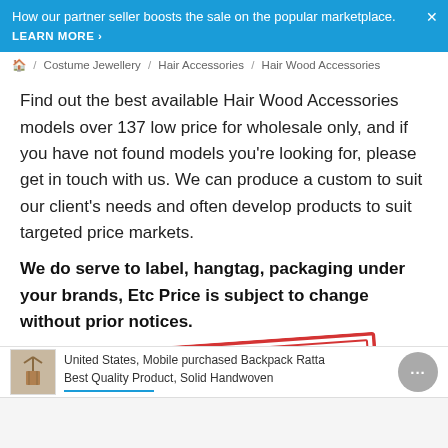How our partner seller boosts the sale on the popular marketplace. LEARN MORE ›
🏠 / Costume Jewellery / Hair Accessories / Hair Wood Accessories
Find out the best available Hair Wood Accessories models over 137 low price for wholesale only, and if you have not found models you're looking for, please get in touch with us. We can produce a custom to suit our client's needs and often develop products to suit targeted price markets.
We do serve to label, hangtag, packaging under your brands, Etc Price is subject to change without prior notices.
[Figure (illustration): CUSTOM MADE red stamp graphic with diagonal red border rectangle]
United States, Mobile purchased Backpack Ratta Best Quality Product, Solid Handwoven